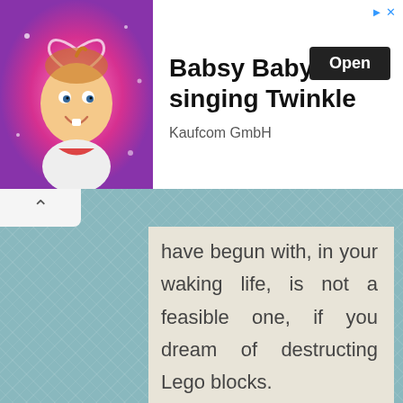[Figure (screenshot): Advertisement banner for 'Babsy Baby singing Twinkle' app by Kaufcom GmbH, featuring a cartoon baby character on a pink sparkly background, with an 'Open' button.]
have begun with, in your waking life, is not a feasible one, if you dream of destructing Lego blocks.
Symbolism:
Lego stands for constructive thoughts,